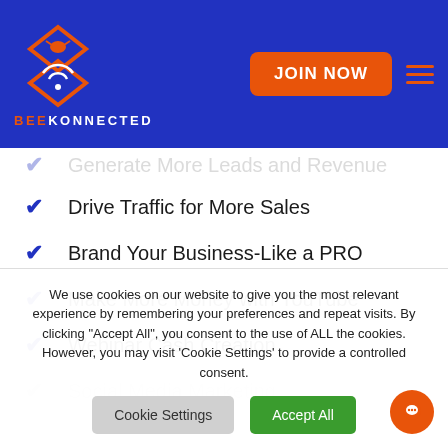[Figure (logo): BeeKonnected logo — orange diamond shapes with bee icon above WiFi signal icon, and 'BEEKONNECTED' text below in orange and white]
Drive Traffic for More Sales
Brand Your Business-Like a PRO
Make More Money with YouTube
Webinar Cash Creation
Social Media Marketing
We use cookies on our website to give you the most relevant experience by remembering your preferences and repeat visits. By clicking "Accept All", you consent to the use of ALL the cookies. However, you may visit 'Cookie Settings' to provide a controlled consent.